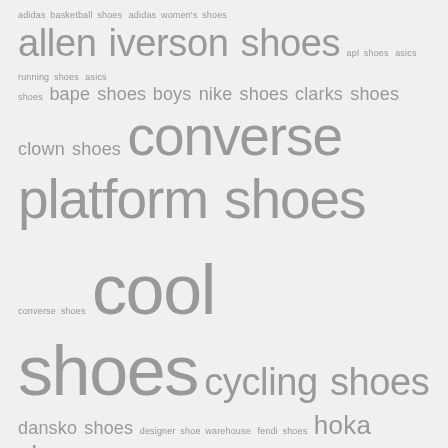[Figure (other): Tag cloud of shoe-related search terms. Terms appear in varying font sizes reflecting relative popularity/frequency. Terms include: adidas basketball shoes, adidas women's shoes, allen iverson shoes, apl shoes, asics running shoes, asics shoes, bape shoes, boys nike shoes, clarks shoes, clown shoes, converse platform shoes, converse shoes, cool shoes, cycling shoes, dansko shoes, designer shoe warehouse, fendi shoes, hoka shoes women, house shoes, keen shoes, macys womens shoes, mens golf shoes, nursing shoes, osiris shoes, peloton shoes, puma golf shoes, satan shoes, saucony running shoes]